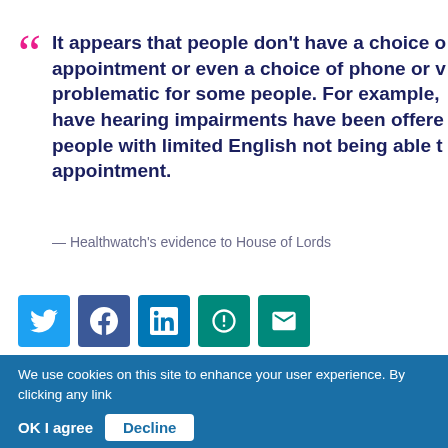It appears that people don't have a choice of appointment or even a choice of phone or video — problematic for some people. For example, people who have hearing impairments have been offered phone calls, people with limited English not being able to use the appointment.
— Healthwatch's evidence to House of Lords
[Figure (other): Social media sharing icons: Twitter, Facebook, LinkedIn, Google+, Email]
We use cookies on this site to enhance your user experience. By clicking any link on this page you are giving your consent for us to set cookies. Give me more info
OK I agree   Decline